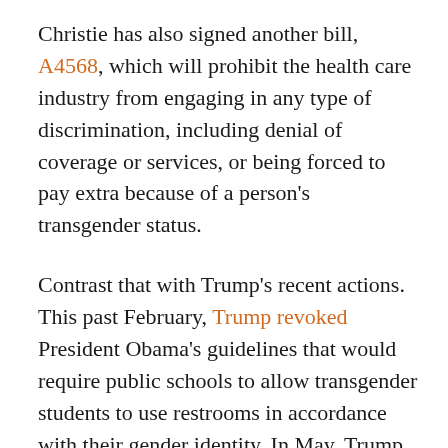Christie has also signed another bill, A4568, which will prohibit the health care industry from engaging in any type of discrimination, including denial of coverage or services, or being forced to pay extra because of a person's transgender status.
Contrast that with Trump's recent actions. This past February, Trump revoked President Obama's guidelines that would require public schools to allow transgender students to use restrooms in accordance with their gender identity. In May, Trump attempted to revoke regulations under the Affordable Care Act that prohibited transgender discrimination in health care. Fortunately, a federal judge put the kibosh on that, and so far, the Trump Administration has not appealed that ruling.